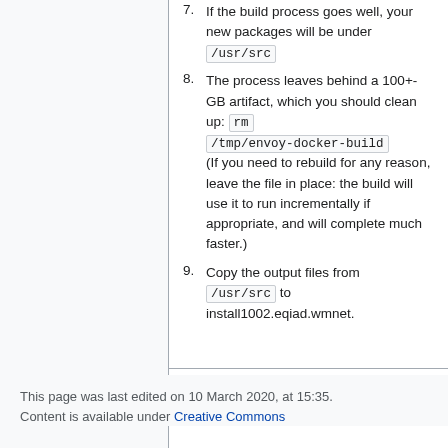7. If the build process goes well, your new packages will be under /usr/src
8. The process leaves behind a 100+-GB artifact, which you should clean up: rm /tmp/envoy-docker-build (If you need to rebuild for any reason, leave the file in place: the build will use it to run incrementally if appropriate, and will complete much faster.)
9. Copy the output files from /usr/src to install1002.eqiad.wmnet.
This page was last edited on 10 March 2020, at 15:35.
Content is available under Creative Commons